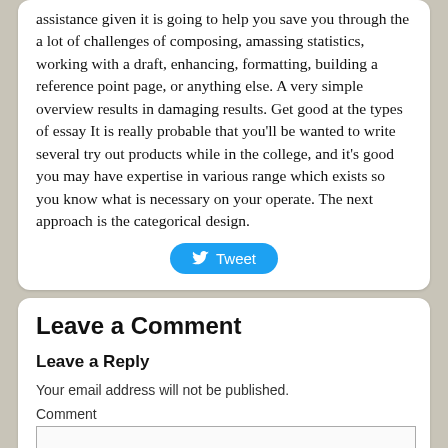assistance given it is going to help you save you through the a lot of challenges of composing, amassing statistics, working with a draft, enhancing, formatting, building a reference point page, or anything else. A very simple overview results in damaging results. Get good at the types of essay It is really probable that you'll be wanted to write several try out products while in the college, and it's good you may have expertise in various range which exists so you know what is necessary on your operate. The next approach is the categorical design.
[Figure (other): Tweet button with Twitter bird icon]
Leave a Comment
Leave a Reply
Your email address will not be published.
Comment
[Figure (other): Comment text area input box]